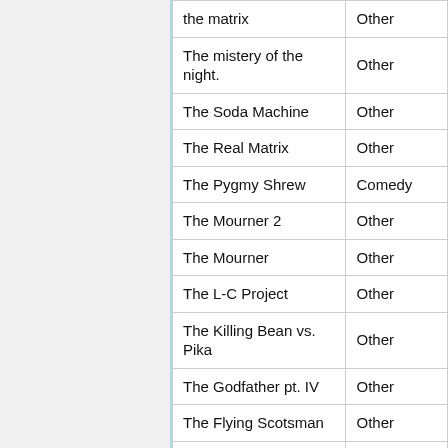| Title | Genre |
| --- | --- |
| the matrix | Other |
| The mistery of the night. | Other |
| The Soda Machine | Other |
| The Real Matrix | Other |
| The Pygmy Shrew | Comedy |
| The Mourner 2 | Other |
| The Mourner | Other |
| The L-C Project | Other |
| The Killing Bean vs. Pika | Other |
| The Godfather pt. IV | Other |
| The Flying Scotsman | Other |
| The Dangers of Webcams | Other |
| The Columbine Kid | Other |
| The Gay Pride Rangers | Other |
| The Disgruntled Ice Cream Man | Other |